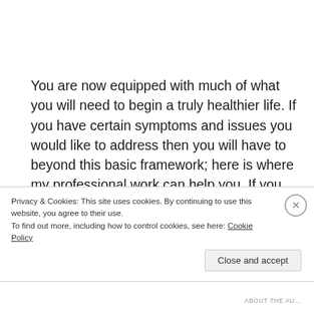You are now equipped with much of what you will need to begin a truly healthier life.  If you have certain symptoms and issues you would like to address then you will have to beyond this basic framework; here is where my professional work can help you.  If you are simply looking to live better as a family then you should implement the suggestions here and shoot me an e-mail to investigate a consultation with your truly.
Privacy & Cookies: This site uses cookies. By continuing to use this website, you agree to their use.
To find out more, including how to control cookies, see here: Cookie Policy
Close and accept
ABOUT THE AU…